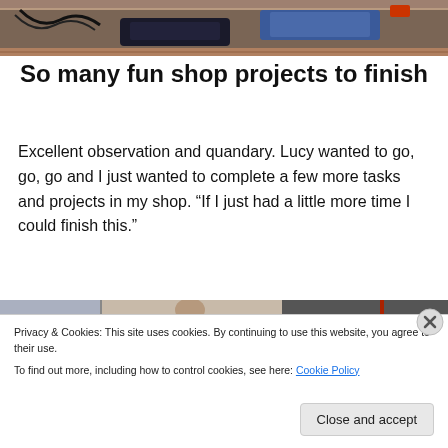[Figure (photo): Top portion of a workshop/shop photo showing a wooden workbench, tools, and blue material visible from overhead.]
So many fun shop projects to finish
Excellent observation and quandary. Lucy wanted to go, go, go and I just wanted to complete a few more tasks and projects in my shop. “If I just had a little more time I could finish this.”
[Figure (photo): Bottom portion of a workshop/shop photo showing a person and shelving in a shop.]
Privacy & Cookies: This site uses cookies. By continuing to use this website, you agree to their use.
To find out more, including how to control cookies, see here: Cookie Policy